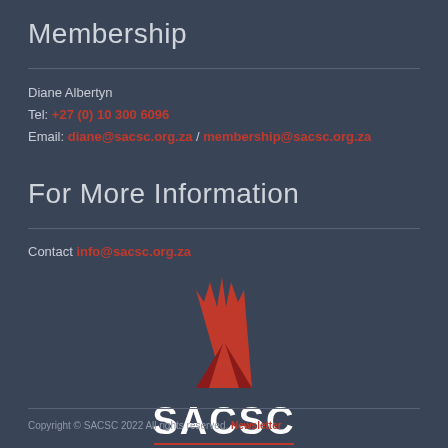Membership
Diane Albertyn
Tel: +27 (0) 10 300 6096
Email: diane@sacsc.org.za / membership@sacsc.org.za
For More Information
Contact info@sacsc.org.za
[Figure (logo): SACSC logo with red starburst/spike graphic above text reading SACSC, South African Council of Shopping Centres, with red underlines]
Copyright © SACSC 2022 All rights reserved. Newsletter